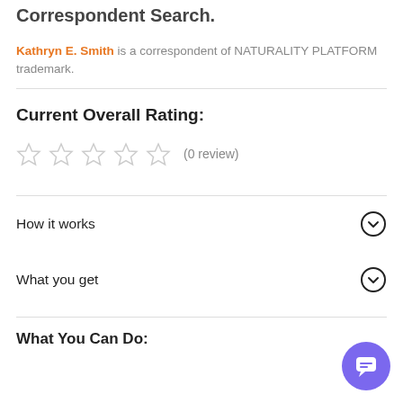Correspondent Search.
Kathryn E. Smith is a correspondent of NATURALITY PLATFORM trademark.
Current Overall Rating:
[Figure (other): Five empty star rating icons followed by (0 review) text]
How it works
What you get
What You Can Do:
[Figure (other): Purple circular chat bubble button in bottom right corner]